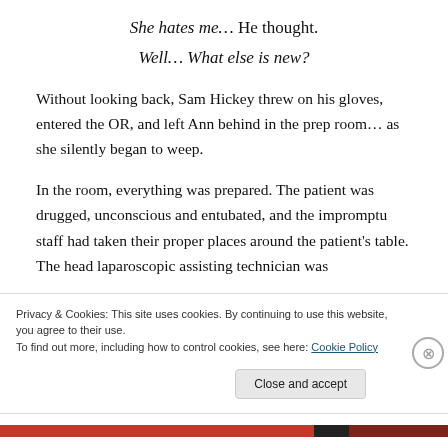She hates me… He thought.
Well… What else is new?
Without looking back, Sam Hickey threw on his gloves, entered the OR, and left Ann behind in the prep room… as she silently began to weep.
In the room, everything was prepared. The patient was drugged, unconscious and entubated, and the impromptu staff had taken their proper places around the patient's table. The head laparoscopic assisting technician was
Privacy & Cookies: This site uses cookies. By continuing to use this website, you agree to their use.
To find out more, including how to control cookies, see here: Cookie Policy
Close and accept